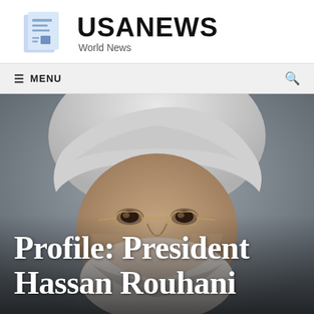[Figure (logo): USANEWS logo with newspaper icon and 'World News' subtitle]
≡ MENU
[Figure (photo): Close-up portrait of President Hassan Rouhani wearing white turban, glasses, with grey beard, looking slightly to the side]
Profile: President Hassan Rouhani